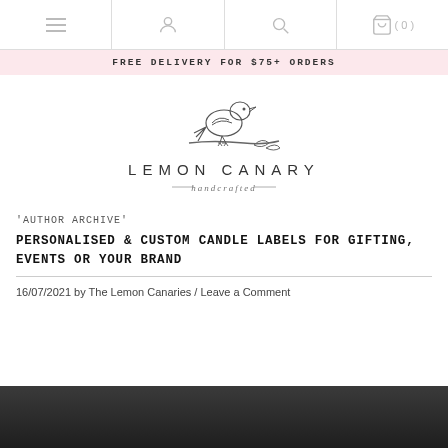Navigation bar with menu, account, search, and cart icons. Cart shows (0).
FREE DELIVERY FOR $75+ ORDERS
[Figure (logo): Lemon Canary handcrafted logo — line drawing of a bird perched on a branch with leaves, text 'LEMON CANARY' in spaced capitals below, 'handcrafted' in italic script beneath with decorative lines]
'AUTHOR ARCHIVE'
PERSONALISED & CUSTOM CANDLE LABELS FOR GIFTING, EVENTS OR YOUR BRAND
16/07/2021 by The Lemon Canaries / Leave a Comment
[Figure (photo): Partial dark/black image at bottom of page, appears to be a product photo]